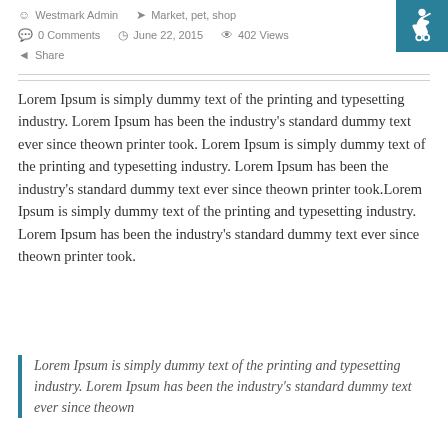Westmark Admin   Market, pet, shop   0 Comments   June 22, 2015   402 Views   Share
Lorem Ipsum is simply dummy text of the printing and typesetting industry. Lorem Ipsum has been the industry's standard dummy text ever since theown printer took. Lorem Ipsum is simply dummy text of the printing and typesetting industry. Lorem Ipsum has been the industry's standard dummy text ever since theown printer took.Lorem Ipsum is simply dummy text of the printing and typesetting industry. Lorem Ipsum has been the industry's standard dummy text ever since theown printer took.
Lorem Ipsum is simply dummy text of the printing and typesetting industry. Lorem Ipsum has been the industry's standard dummy text ever since theown